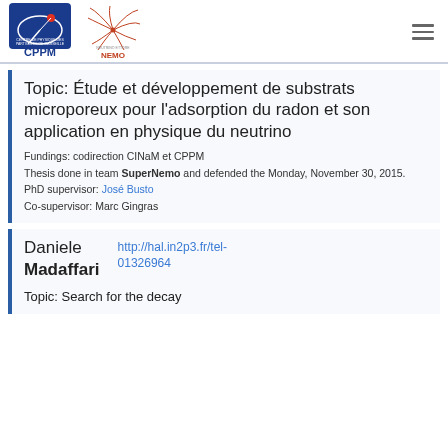[Figure (logo): CPPM (Centre de Physique des Particules de Marseille) logo and NEMO experiment logo]
Topic: Étude et développement de substrats microporeux pour l'adsorption du radon et son application en physique du neutrino
Fundings: codirection CINaM et CPPM
Thesis done in team SuperNemo and defended the Monday, November 30, 2015.
PhD supervisor: José Busto
Co-supervisor: Marc Gingras
Daniele Madaffari
http://hal.in2p3.fr/tel-01326964
Topic: Search for the decay...